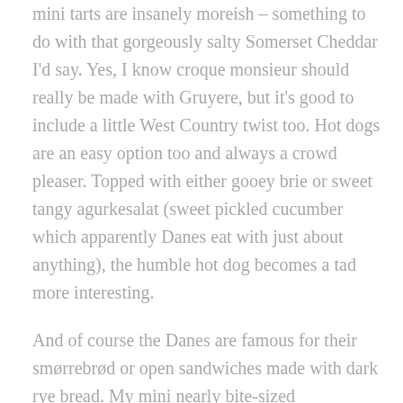mini tarts are insanely moreish – something to do with that gorgeously salty Somerset Cheddar I'd say. Yes, I know croque monsieur should really be made with Gruyere, but it's good to include a little West Country twist too. Hot dogs are an easy option too and always a crowd pleaser. Topped with either gooey brie or sweet tangy agurkesalat (sweet pickled cucumber which apparently Danes eat with just about anything), the humble hot dog becomes a tad more interesting.
And of course the Danes are famous for their smørrebrød or open sandwiches made with dark rye bread. My mini nearly bite-sized